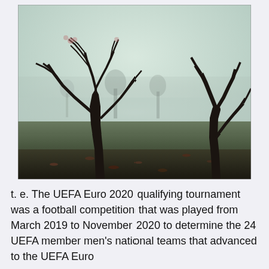[Figure (photo): A misty park scene with bare winter trees standing on a grassy field. The atmosphere is foggy and grey, with the trees' dark branches silhouetted against a pale, hazy background.]
t. e. The UEFA Euro 2020 qualifying tournament was a football competition that was played from March 2019 to November 2020 to determine the 24 UEFA member men's national teams that advanced to the UEFA Euro 2020 final tournament, played across Europe.